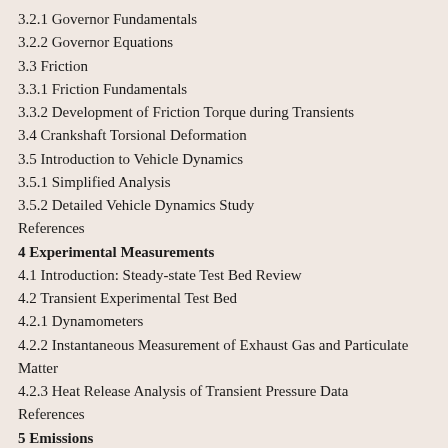3.2.1 Governor Fundamentals
3.2.2 Governor Equations
3.3 Friction
3.3.1 Friction Fundamentals
3.3.2 Development of Friction Torque during Transients
3.4 Crankshaft Torsional Deformation
3.5 Introduction to Vehicle Dynamics
3.5.1 Simplified Analysis
3.5.2 Detailed Vehicle Dynamics Study
References
4 Experimental Measurements
4.1 Introduction: Steady-state Test Bed Review
4.2 Transient Experimental Test Bed
4.2.1 Dynamometers
4.2.2 Instantaneous Measurement of Exhaust Gas and Particulate Matter
4.2.3 Heat Release Analysis of Transient Pressure Data
References
5 Emissions
5.1 Particulate Matter and Smoke
5.2 Nitrogen Oxides